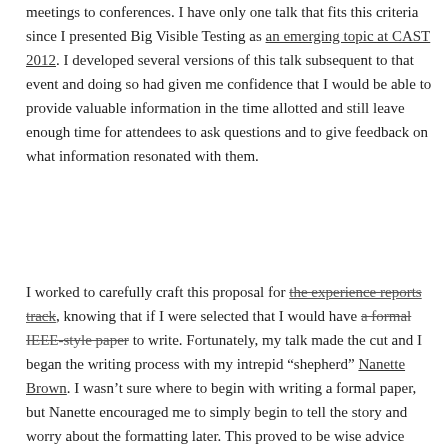meetings to conferences. I have only one talk that fits this criteria since I presented Big Visible Testing as an emerging topic at CAST 2012. I developed several versions of this talk subsequent to that event and doing so had given me confidence that I would be able to provide valuable information in the time allotted and still leave enough time for attendees to ask questions and to give feedback on what information resonated with them.
I worked to carefully craft this proposal for the experience reports track, knowing that if I were selected that I would have a formal IEEE-style paper to write. Fortunately, my talk made the cut and I began the writing process with my intrepid "shepherd" Nanette Brown. I wasn't sure where to begin with writing a formal paper, but Nanette encouraged me to simply begin to tell the story and worry about the formatting later. This proved to be wise advice since telling a compelling story is the most important task